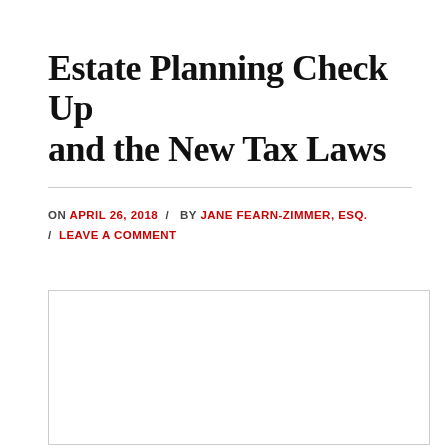Estate Planning Check Up and the New Tax Laws
ON APRIL 26, 2018 / BY JANE FEARN-ZIMMER, ESQ. / LEAVE A COMMENT
[Figure (other): White rectangular image placeholder with light gray border]